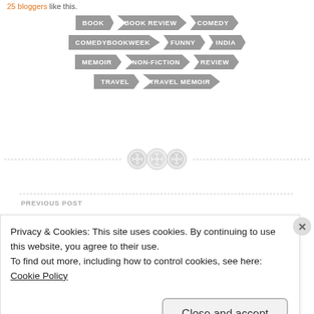25 bloggers like this.
[Figure (infographic): Arrow-shaped tag buttons in gray: BOOK, BOOK REVIEW, COMEDY, COMEDYBOOKWEEK, FUNNY, INDIA, MEMOIR, NON-FICTION, REVIEW, TRAVEL, TRAVEL MEMOIR]
[Figure (other): Decorative divider with three button/spool icons and dashed lines on either side]
PREVIOUS POST
Privacy & Cookies: This site uses cookies. By continuing to use this website, you agree to their use.
To find out more, including how to control cookies, see here: Cookie Policy
Close and accept